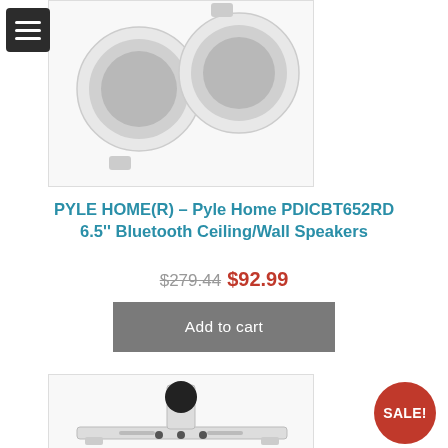[Figure (photo): Two white Bluetooth ceiling/wall speakers viewed from above on white background]
PYLE HOME(R) – Pyle Home PDICBT652RD 6.5'' Bluetooth Ceiling/Wall Speakers
$279.44 $92.99
Add to cart
[Figure (photo): White wall speaker mount bracket with black speaker component, viewed from front on white background]
SALE!